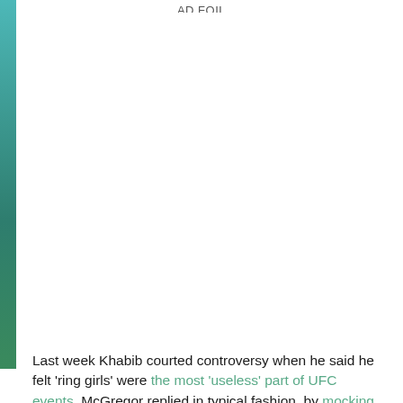AD FOIL
[Figure (photo): Image placeholder area with left decorative teal/green gradient bar on left side]
Last week Khabib courted controversy when he said he felt 'ring girls' were the most 'useless' part of UFC events. McGregor replied in typical fashion, by mocking his rival with a Simpsons' meme.
However one fan of the retired MMA fighter hit back with his own reply, posting a video that shows Nurmagomedov hitting his opponent with physical and verbal shots during their fight.
Khabib can be heard saying "What happened? Let's